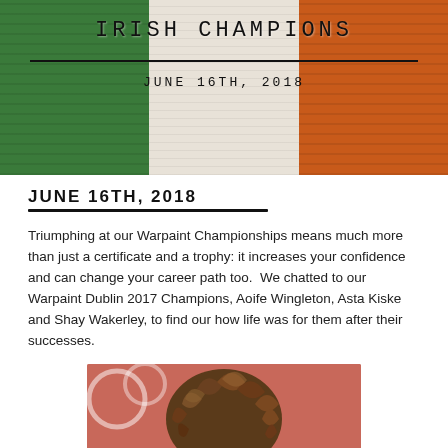[Figure (photo): Irish tricolour flag painted on brick wall background with 'IRISH CHAMPIONS' text and 'JUNE 16TH, 2018' date overlaid]
JUNE 16TH, 2018
Triumphing at our Warpaint Championships means much more than just a certificate and a trophy: it increases your confidence and can change your career path too.  We chatted to our Warpaint Dublin 2017 Champions, Aoife Wingleton, Asta Kiske and Shay Wakerley, to find our how life was for them after their successes.
[Figure (photo): Close-up photo of a person with curly brown hair against a pink/red background with circular design elements]